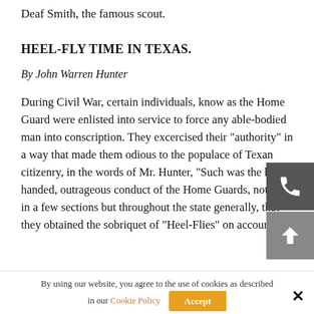Deaf Smith, the famous scout.
HEEL-FLY TIME IN TEXAS.
By John Warren Hunter
During Civil War, certain individuals, know as the Home Guard were enlisted into service to force any able-bodied man into conscription. They excercised their "authority" in a way that made them odious to the populace of Texan citizenry, in the words of Mr. Hunter, "Such was the high-handed, outrageous conduct of the Home Guards, not only in a few sections but throughout the state generally, that they obtained the sobriquet of "Heel-Flies" on account of
By using our website, you agree to the use of cookies as described in our Cookie Policy
Accept